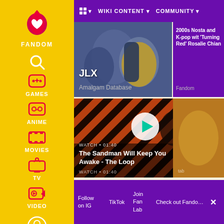[Figure (screenshot): Fandom website sidebar with yellow background showing logo, Games, Anime, Movies, TV, Video navigation icons in red and white]
Pac-Man icon  WIKI CONTENT ▼  COMMUNITY ▼
[Figure (photo): JLX comic characters artwork - Amalgam Database card]
JLX
Amalgam Database
2000s Nostalgia and K-pop with 'Turning Red's Rosalie Chiang
Fandom
[Figure (screenshot): Video thumbnail with diagonal orange and black stripes, showing a dark-haired person. WATCH • 01:40. Title: The Sandman Will Keep You Awake - The Loop]
WATCH • 01:40
The Sandman Will Keep You Awake - The Loop
WATCH • 01:40
Follow on IG
TikTok
Join Fan Lab
Check out Fandom Quizzes and cha